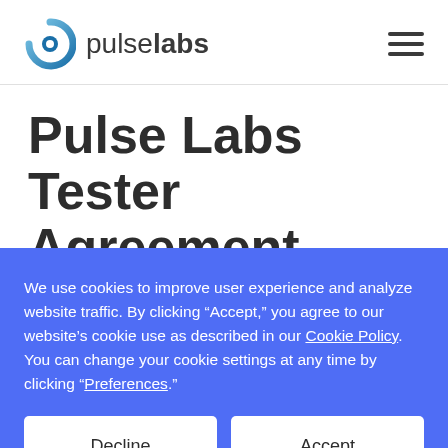pulselabs
Pulse Labs Tester Agreement
This Agreement (the “Terms”) contains the
We use cookies to improve user experience and analyze website traffic. By clicking “Accept,” you agree to our website’s cookie use as described in our Cookie Policy. You can change your cookie settings at any time by clicking “Preferences.”
Decline
Accept
Preferences